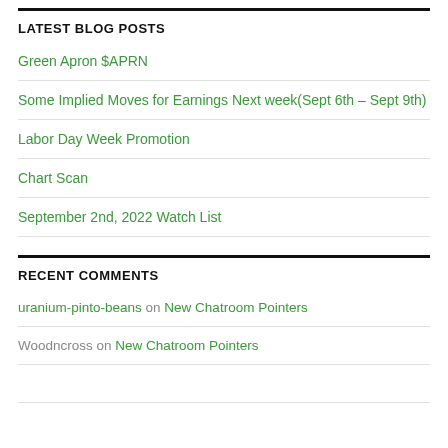LATEST BLOG POSTS
Green Apron $APRN
Some Implied Moves for Earnings Next week(Sept 6th – Sept 9th)
Labor Day Week Promotion
Chart Scan
September 2nd, 2022 Watch List
RECENT COMMENTS
uranium-pinto-beans on New Chatroom Pointers
Woodncross on New Chatroom Pointers